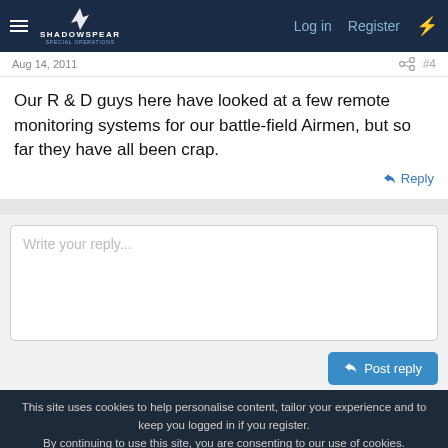ShadowSpear Special Operations — Log in | Register
Aug 14, 2011  #4
Our R & D guys here have looked at a few remote monitoring systems for our battle-field Airmen, but so far they have all been crap.
↩ Reply
Write your reply...
Post reply
This site uses cookies to help personalise content, tailor your experience and to keep you logged in if you register.
By continuing to use this site, you are consenting to our use of cookies.
✓ Accept | Learn more...